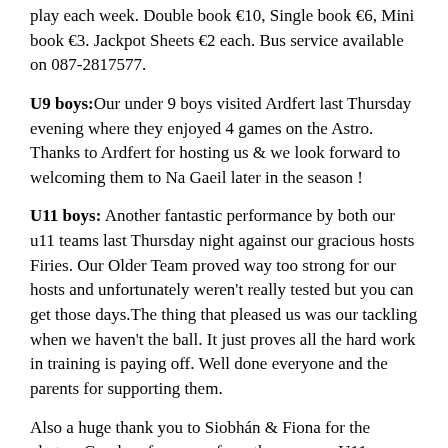play each week. Double book €10, Single book €6, Mini book €3. Jackpot Sheets €2 each. Bus service available on 087-2817577.
U9 boys: Our under 9 boys visited Ardfert last Thursday evening where they enjoyed 4 games on the Astro. Thanks to Ardfert for hosting us & we look forward to welcoming them to Na Gaeil later in the season !
U11 boys: Another fantastic performance by both our u11 teams last Thursday night against our gracious hosts Firies. Our Older Team proved way too strong for our hosts and unfortunately weren't really tested but you can get those days.The thing that pleased us was our tackling when we haven't the ball. It just proves all the hard work in training is paying off. Well done everyone and the parents for supporting them.
Also a huge thank you to Siobhán & Fiona for the photos. Good performance from the younger U11s. Nothing seemed to go right and we met a very good Firies team.Still, great heart to keep trying till the end and lost out narrowly. Well done all.
U15 boys: Our lads took on Kilcummin last Wednesday night in the semi final of the County League Div 4 shield. Playing against the wind in the first half we got off to a good start with a pointed free from Liam followed soon afterwards by a Danny Kingston goal.
Kilcummin replied with 2 point but Na Gaeil dominated the 2nd quarter with